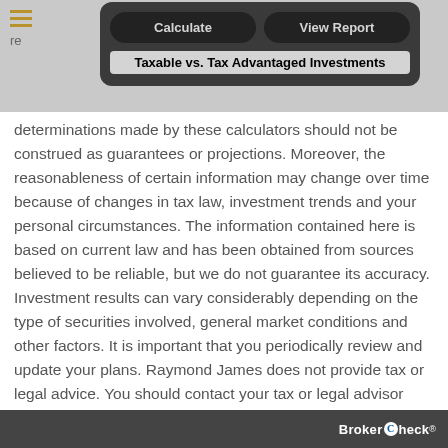Calculate | View Report | Taxable vs. Tax Advantaged Investments
determinations made by these calculators should not be construed as guarantees or projections. Moreover, the reasonableness of certain information may change over time because of changes in tax law, investment trends and your personal circumstances. The information contained here is based on current law and has been obtained from sources believed to be reliable, but we do not guarantee its accuracy. Investment results can vary considerably depending on the type of securities involved, general market conditions and other factors. It is important that you periodically review and update your plans. Raymond James does not provide tax or legal advice. You should contact your tax or legal advisor concerning your particular situation. All investments carry a degree of risk, and past performance is not a guarantee of future results.
BrokerCheck